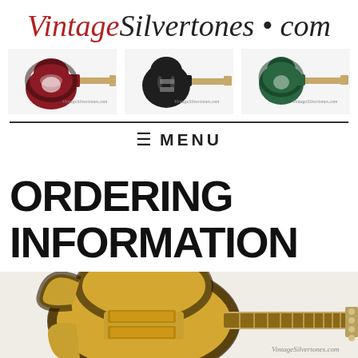VintageSilvertones.com
[Figure (photo): Three vintage Silvertone electric guitars displayed side by side: a red/black sunburst guitar on the left, a dark/black hollow body guitar in the center, and a green sunburst guitar on the right. Each has a VintageSilvertones.com watermark.]
≡  MENU
ORDERING INFORMATION
[Figure (photo): A vintage Silvertone electric guitar with sunburst finish (yellow/brown/black) shown from slightly above, with two pickups visible and a VintageSilvertones.com watermark. The headstock with tuning pegs is visible at the right edge.]